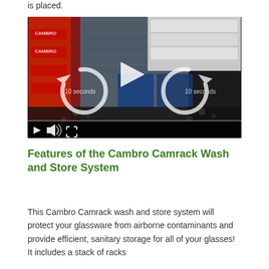is placed.
[Figure (screenshot): Video player showing Cambro Camrack wash and store system with skip-back 10 seconds, play, and skip-forward 10 seconds controls in center, and playback controls (play button, volume, fullscreen) at the bottom bar.]
Features of the Cambro Camrack Wash and Store System
About | Transcript | Embed (tab bar)
This Cambro Camrack wash and store system will protect your glassware from airborne contaminants and provide efficient, sanitary storage for all of your glasses! It includes a stack of racks